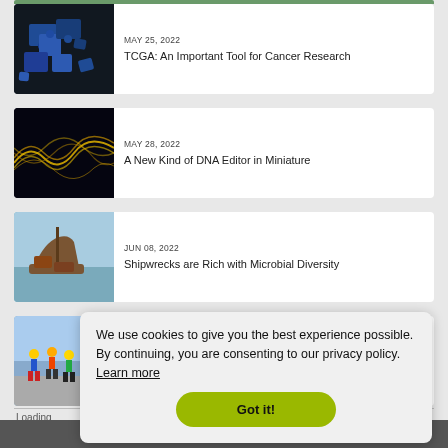[Figure (photo): Partial top image - cropped at top, greenish tones]
MAY 25, 2022
TCGA: An Important Tool for Cancer Research
[Figure (photo): Blue puzzle pieces on dark background]
MAY 28, 2022
A New Kind of DNA Editor in Miniature
[Figure (photo): Glowing gold wave lines on dark blue background (DNA visualization)]
JUN 08, 2022
Shipwrecks are Rich with Microbial Diversity
[Figure (photo): Rusty shipwreck in shallow water]
[Figure (photo): Partial view of runners in colorful gear]
Loading
We use cookies to give you the best experience possible. By continuing, you are consenting to our privacy policy. Learn more
Got it!
Let's Talk Science  Let's Talk Medicine